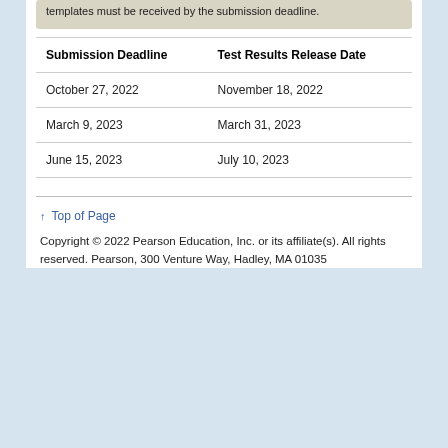templates must be received by the submission deadline.
| Submission Deadline | Test Results Release Date |
| --- | --- |
| October 27, 2022 | November 18, 2022 |
| March 9, 2023 | March 31, 2023 |
| June 15, 2023 | July 10, 2023 |
↑ Top of Page
Copyright © 2022 Pearson Education, Inc. or its affiliate(s). All rights reserved. Pearson, 300 Venture Way, Hadley, MA 01035